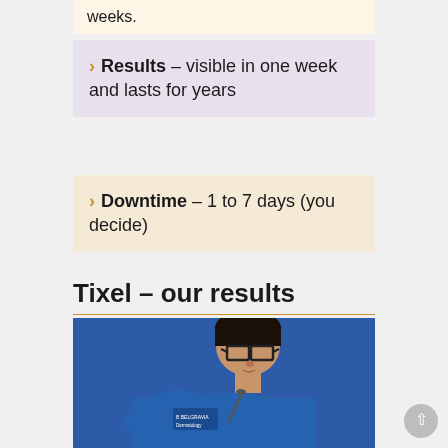weeks.
Results – visible in one week and lasts for years
Downtime – 1 to 7 days (you decide)
Tixel – our results
[Figure (photo): A medical professional wearing a blue uniform with 'Belgravia Dermatology' branding and glasses, leaning forward to examine something.]